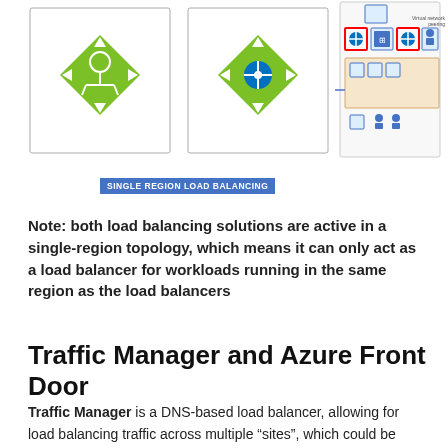[Figure (engineering-diagram): Azure load balancing diagram showing two diamond-shaped icons (green with network symbols) on the left representing single-region load balancers, and a more complex network topology diagram on the right showing interconnected blue nodes with red-bordered squares.]
SINGLE REGION LOAD BALANCING
Note: both load balancing solutions are active in a single-region topology, which means it can only act as a load balancer for workloads running in the same region as the load balancers
Traffic Manager and Azure Front Door
Traffic Manager is a DNS-based load balancer, allowing for load balancing traffic across multiple “sites”, which could be multiple Azure regions, but also across Azure and a non-Azure region (on-premises, other public cloud…). It